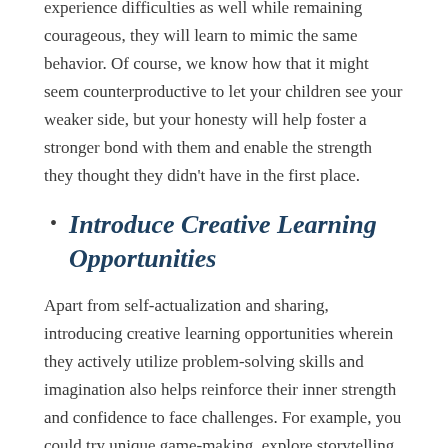experience difficulties as well while remaining courageous, they will learn to mimic the same behavior. Of course, we know how that it might seem counterproductive to let your children see your weaker side, but your honesty will help foster a stronger bond with them and enable the strength they thought they didn't have in the first place.
Introduce Creative Learning Opportunities
Apart from self-actualization and sharing, introducing creative learning opportunities wherein they actively utilize problem-solving skills and imagination also helps reinforce their inner strength and confidence to face challenges. For example, you could try unique game-making, explore storytelling and acting, or even DIY vinyl t-shirt designs, so your kids get to create their own funky clothing line.